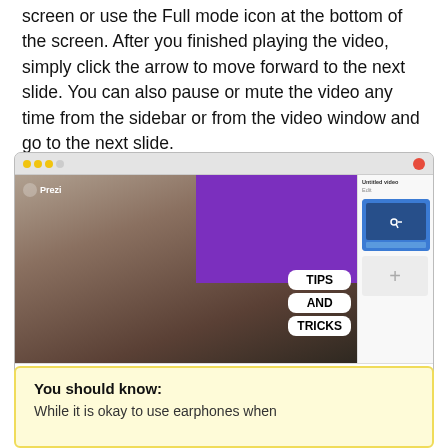screen or use the Full mode icon at the bottom of the screen. After you finished playing the video, simply click the arrow to move forward to the next slide. You can also pause or mute the video any time from the sidebar or from the video window and go to the next slide.
[Figure (screenshot): Screenshot of the Prezi video interface showing a man presenting with a purple overlay panel, 'TIPS AND TRICKS' text boxes, and a sidebar with slide thumbnails.]
You should know:
While it is okay to use earphones when